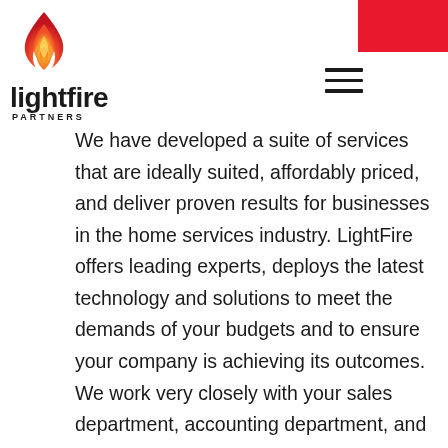[Figure (logo): LightFire Partners logo with orange/red flame icon above the text 'lightfire' in bold black with 'PARTNERS' in small caps beneath]
We have developed a suite of services that are ideally suited, affordably priced, and deliver proven results for businesses in the home services industry. LightFire offers leading experts, deploys the latest technology and solutions to meet the demands of your budgets and to ensure your company is achieving its outcomes. We work very closely with your sales department, accounting department, and management team to tailor an account solution that serves the needs of all parties.